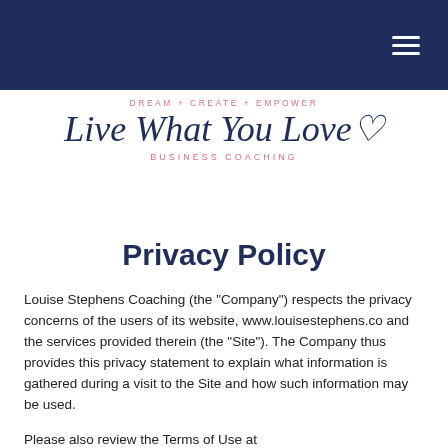Navigation bar with hamburger menu
[Figure (logo): Live What You Love Business Coaching logo with script text and tagline DREAM + CREATE + EMPOWER]
Privacy Policy
Louise Stephens Coaching (the “Company”) respects the privacy concerns of the users of its website, www.louisestephens.co and the services provided therein (the “Site”). The Company thus provides this privacy statement to explain what information is gathered during a visit to the Site and how such information may be used.
Please also review the Terms of Use at